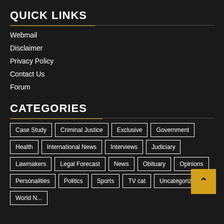QUICK LINKS
Webmail
Disclaimer
Privacy Policy
Contact Us
Forum
CATEGORIES
Case Study
Criminal Justice
Exclusive
Government
Health
International News
Interviews
Judiciary
Lawmakers
Legal Forecast
News
Obituary
Opinions
Personalities
Politics
Sports
TV cat
Uncategorized
World N...